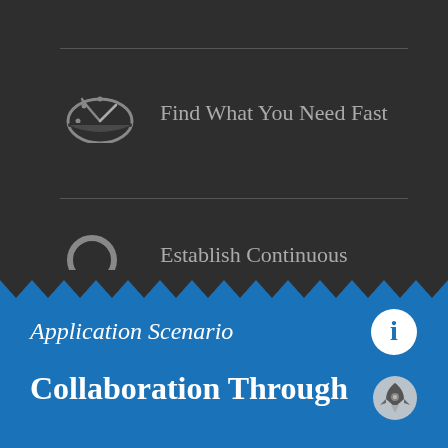Find What You Need Fast
Establish Continuous Improvement Cycles
Application Scenario
Collaboration Through